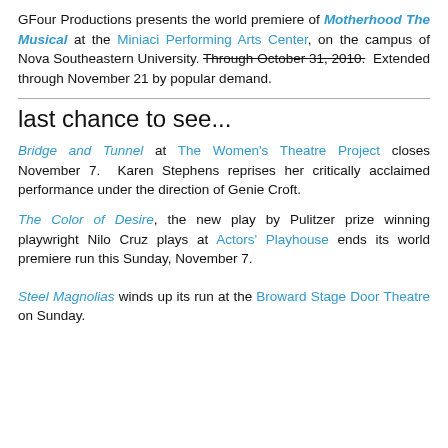GFour Productions presents the world premiere of Motherhood The Musical at the Miniaci Performing Arts Center, on the campus of Nova Southeastern University. Through October 31, 2010. Extended through November 21 by popular demand.
last chance to see...
Bridge and Tunnel at The Women's Theatre Project closes November 7. Karen Stephens reprises her critically acclaimed performance under the direction of Genie Croft.
The Color of Desire, the new play by Pulitzer prize winning playwright Nilo Cruz plays at Actors' Playhouse ends its world premiere run this Sunday, November 7.
Steel Magnolias winds up its run at the Broward Stage Door Theatre on Sunday.